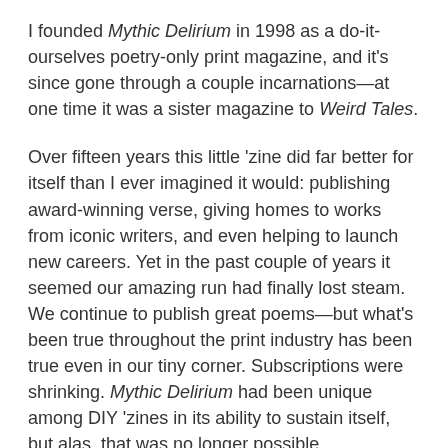I founded Mythic Delirium in 1998 as a do-it-ourselves poetry-only print magazine, and it's since gone through a couple incarnations—at one time it was a sister magazine to Weird Tales.
Over fifteen years this little 'zine did far better for itself than I ever imagined it would: publishing award-winning verse, giving homes to works from iconic writers, and even helping to launch new careers. Yet in the past couple of years it seemed our amazing run had finally lost steam. We continue to publish great poems—but what's been true throughout the print industry has been true even in our tiny corner. Subscriptions were shrinking. Mythic Delirium had been unique among DIY 'zines in its ability to sustain itself, but alas, that was no longer possible.
For some time now I've had a hankering to try my hand at a webzine that showcased fiction as well as poetry. (I